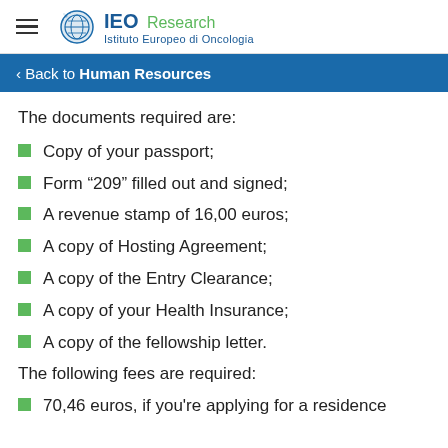IEO Research — Istituto Europeo di Oncologia
< Back to Human Resources
The documents required are:
Copy of your passport;
Form “209” filled out and signed;
A revenue stamp of 16,00 euros;
A copy of Hosting Agreement;
A copy of the Entry Clearance;
A copy of your Health Insurance;
A copy of the fellowship letter.
The following fees are required:
70,46 euros, if you're applying for a residence